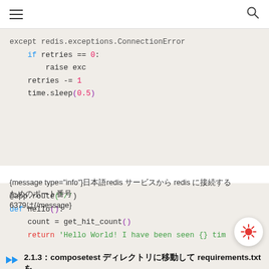Navigation bar with hamburger menu and search icon
[Figure (screenshot): Code block showing Python except clause with redis retry logic: except redis.exceptions.ConnectionError: if retries == 0: raise exc; retries -= 1; time.sleep(0.5)]
[Figure (screenshot): Code block showing Flask route: @app.route('/') def hello(): count = get_hit_count() return 'Hello World! I have been seen {} tim]
{message type="info"}日本語redis サービスから redis に接続するためのポート番号6379は{/message}
2.1.3： composetest ディレクトリに移動して requirements.txt を作成しましょう
[Figure (screenshot): Bottom code block with traffic light dots (red, orange, green)]